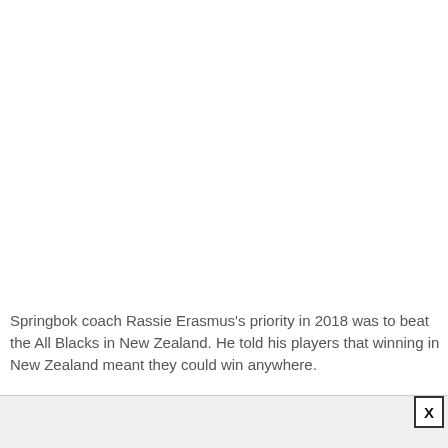Springbok coach Rassie Erasmus's priority in 2018 was to beat the All Blacks in New Zealand. He told his players that winning in New Zealand meant they could win anywhere.
That done, the November international month is about consistency and...